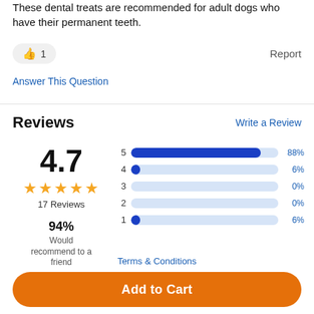These dental treats are recommended for adult dogs who have their permanent teeth.
👍 1   Report
Answer This Question
Reviews
Write a Review
[Figure (bar-chart): Rating distribution]
4.7
★★★★★
17 Reviews
94%
Would recommend to a friend
Terms & Conditions
Add to Cart